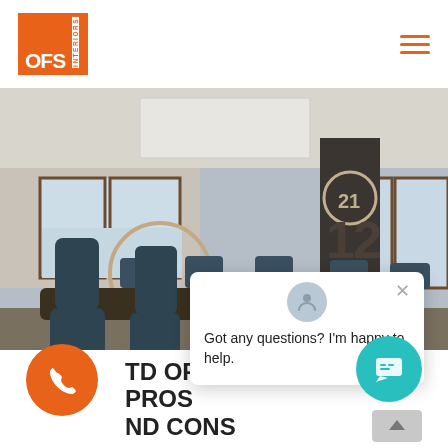[Figure (logo): OFS Interiors orange logo with white text]
[Figure (photo): Conference room with dark chairs around a long table, windows with city view, Century 21 branding on wall]
Got any questions? I'm happy to help.
TD OFFICE FURNITURE: PROS AND CONS